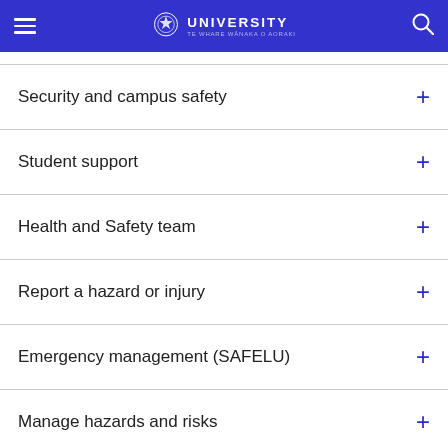Lincoln University Te Whare Wānaka o Aoraki
Security and campus safety
Student support
Health and Safety team
Report a hazard or injury
Emergency management (SAFELU)
Manage hazards and risks